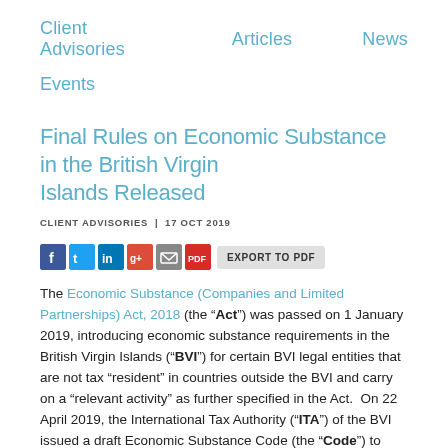Client Advisories   Articles   News
Events
Final Rules on Economic Substance in the British Virgin Islands Released
CLIENT ADVISORIES  |  17 OCT 2019
[Figure (other): Social sharing icons: Facebook, Twitter, LinkedIn, Google+, Email, PDF export button labeled EXPORT TO PDF]
The Economic Substance (Companies and Limited Partnerships) Act, 2018 (the “Act”) was passed on 1 January 2019, introducing economic substance requirements in the British Virgin Islands (“BVI”) for certain BVI legal entities that are not tax “resident” in countries outside the BVI and carry on a “relevant activity” as further specified in the Act.  On 22 April 2019, the International Tax Authority (“ITA”) of the BVI issued a draft Economic Substance Code (the “Code”) to provide guidance and interpretation in respect of the Act (for further information please see our earlier